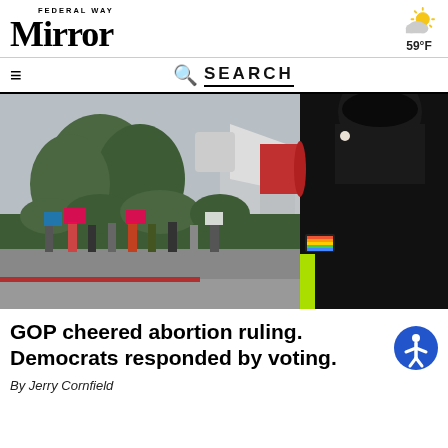Federal Way Mirror — 59°F
SEARCH
[Figure (photo): A woman holding a red-and-white megaphone speaks at a protest rally. In the background, protesters hold signs along a street lined with green bushes and trees.]
GOP cheered abortion ruling. Democrats responded by voting.
By Jerry Cornfield